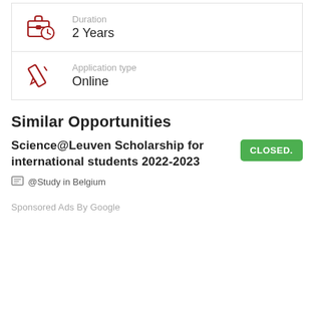[Figure (illustration): Red briefcase with clock icon indicating duration]
Duration
2 Years
[Figure (illustration): Red pencil icon indicating application type]
Application type
Online
Similar Opportunities
Science@Leuven Scholarship for international students 2022-2023
CLOSED.
@Study in Belgium
Sponsored Ads By Google